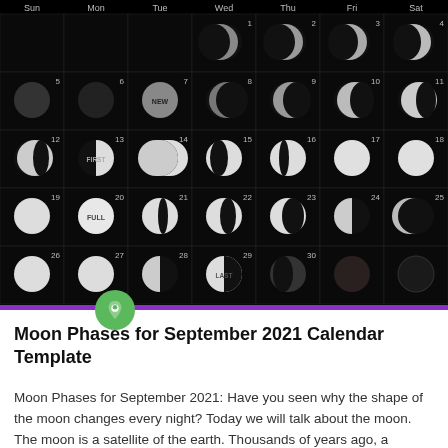[Figure (other): Moon phases calendar for September 2021 showing photographs of the moon in each day cell arranged in a 7-column grid (Sun–Sat) on a black background, with day numbers and phase labels: NEW (day 7), FIRST (day 13), FULL (day 20), LAST (day 29)]
Moon Phases for September 2021 Calendar Template
Moon Phases for September 2021: Have you seen why the shape of the moon changes every night? Today we will talk about the moon. The moon is a satellite of the earth. Thousands of years ago, a